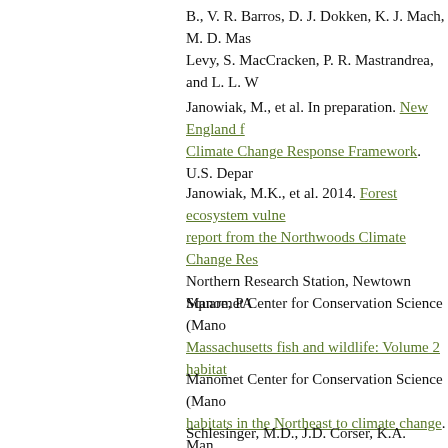B., V. R. Barros, D. J. Dokken, K. J. Mach, M. D. Mas... Levy, S. MacCracken, P. R. Mastrandrea, and L. L. W...
Janowiak, M., et al. In preparation. New England f... Climate Change Response Framework. U.S. Depar...
Janowiak, M.K., et al. 2014. Forest ecosystem vulne... report from the Northwoods Climate Change Res... Northern Research Station, Newtown Square, PA...
Manomet Center for Conservation Science (Mano... Massachusetts fish and wildlife: Volume 2 habitat...
Manomet Center for Conservation Science (Mano... habitats in the Northeast to climate change. Man...
Schlesinger, M.D., J.D. Corser, K.A. Perkins, and E.L... Heritage Program, Albany, NY.